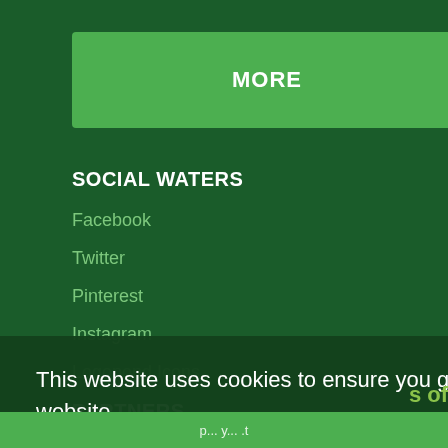MORE
SOCIAL WATERS
Facebook
Twitter
Pinterest
Instagram
Logopond Icons
PARTNERS
This website uses cookies to ensure you get the best experience on our website.
Learn more
Decline
Allow cookies
s of